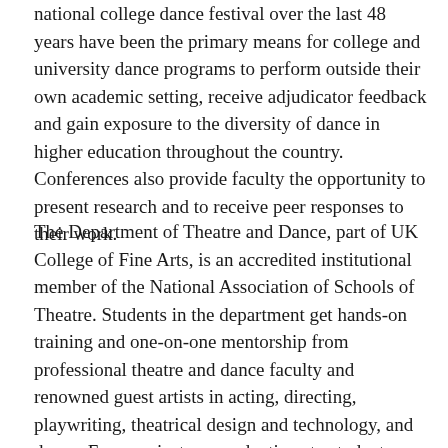national college dance festival over the last 48 years have been the primary means for college and university dance programs to perform outside their own academic setting, receive adjudicator feedback and gain exposure to the diversity of dance in higher education throughout the country. Conferences also provide faculty the opportunity to present research and to receive peer responses to their work.
The Department of Theatre and Dance, part of UK College of Fine Arts, is an accredited institutional member of the National Association of Schools of Theatre. Students in the department get hands-on training and one-on-one mentorship from professional theatre and dance faculty and renowned guest artists in acting, directing, playwriting, theatrical design and technology, and dance. From mainstage productions to student-produced shows, students have plenty of opportunities to participate on stage or backstage. Special programs include a musical theatre certificate, education abroad, as well as a thriving dance program that emphasizes technique, composition,